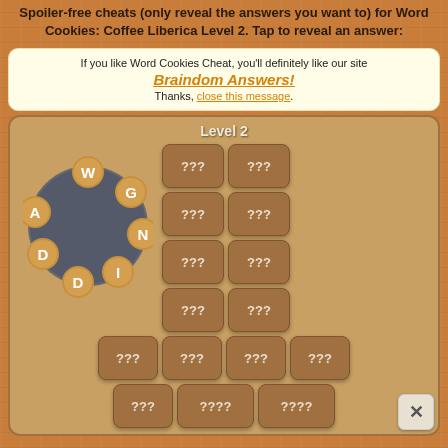Spoiler-free cheats (only reveal the answers you want to) for Word Cookies: Coffee Liberica Level 2. Tap to reveal an answer:
If you like Word Cookies Cheat, you'll definitely like our site Braindom Answers! Thanks, close this message.
[Figure (screenshot): Word Cookies game interface showing Level 2 with a circular letter wheel containing letters W, G, N, I, D, D, A and a grid of answer tiles showing '???' and '????']